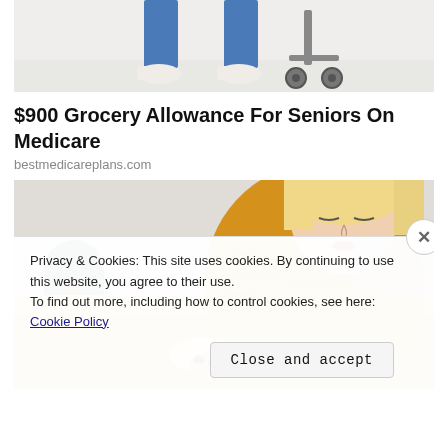[Figure (photo): Top portion of a person in blue pants and white shoes standing next to what appears to be a cart with wheels, cropped at waist level]
$900 Grocery Allowance For Seniors On Medicare
bestmedicareplans.com
[Figure (photo): Woman with blonde hair wearing a yellow knit sweater, looking down at her arm, sitting on a couch]
Privacy & Cookies: This site uses cookies. By continuing to use this website, you agree to their use.
To find out more, including how to control cookies, see here: Cookie Policy
Close and accept